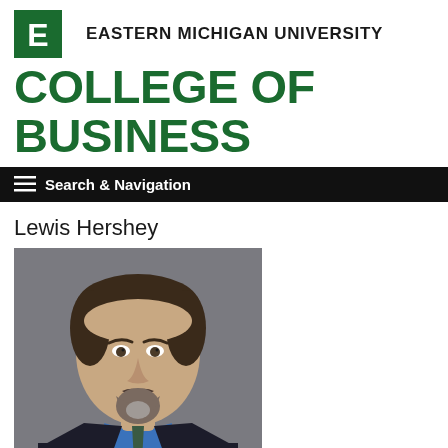[Figure (logo): Eastern Michigan University logo - green square with white E letter, followed by university name text]
COLLEGE OF BUSINESS
Search & Navigation
Lewis Hershey
[Figure (photo): Professional headshot of Lewis Hershey, a middle-aged man with dark hair and a beard/goatee, wearing a blue shirt, dark tie, and dark blazer, against a gray background]